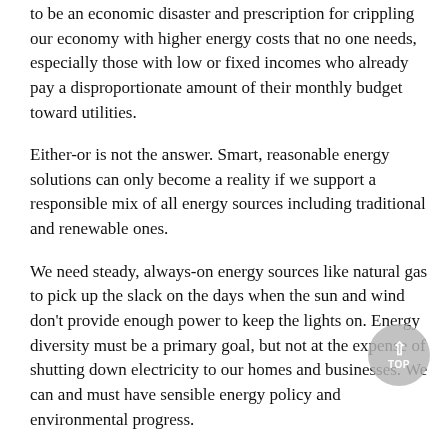to be an economic disaster and prescription for crippling our economy with higher energy costs that no one needs, especially those with low or fixed incomes who already pay a disproportionate amount of their monthly budget toward utilities.
Either-or is not the answer. Smart, reasonable energy solutions can only become a reality if we support a responsible mix of all energy sources including traditional and renewable ones.
We need steady, always-on energy sources like natural gas to pick up the slack on the days when the sun and wind don't provide enough power to keep the lights on. Energy diversity must be a primary goal, but not at the expense of shutting down electricity to our homes and businesses. We can and must have sensible energy policy and environmental progress.
What would be a real crime is failing to recognize that a brighter future for all of us, our environment, and our economy, requires the best spirit of American can-do and practicality: working with every asset we have to solve our challenges realistically, responsibly and fairly.
David Holt is president of the Consumer Energy Alliance (CEA).